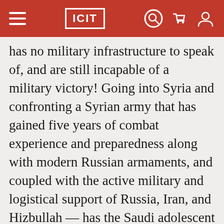ICIT
has no military infrastructure to speak of, and are still incapable of a military victory! Going into Syria and confronting a Syrian army that has gained five years of combat experience and preparedness along with modern Russian armaments, and coupled with the active military and logistical support of Russia, Iran, and Hizbullah — has the Saudi adolescent war minister and his juvenile lieutenants thought through this scenario? Or are they impetuously carrying out the orders coming to them from the